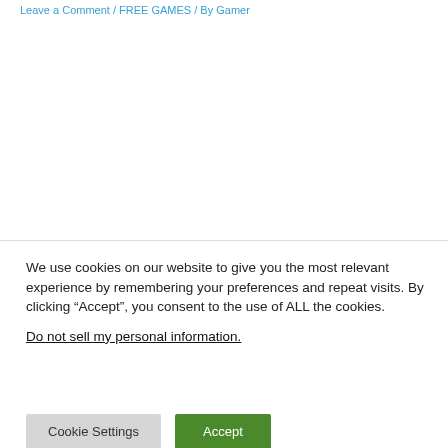Leave a Comment / FREE GAMES / By Gamer
We use cookies on our website to give you the most relevant experience by remembering your preferences and repeat visits. By clicking “Accept”, you consent to the use of ALL the cookies.
Do not sell my personal information.
Cookie Settings
Accept